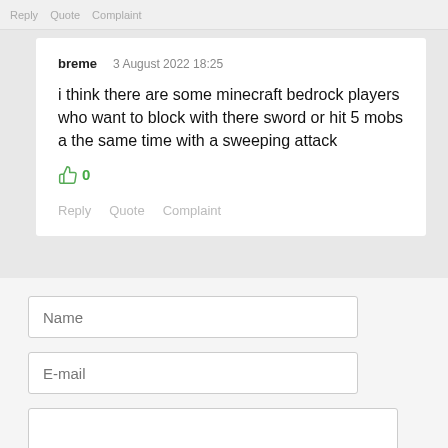Reply   Quote   Complaint
breme   3 August 2022 18:25
i think there are some minecraft bedrock players who want to block with there sword or hit 5 mobs a the same time with a sweeping attack
0
Reply   Quote   Complaint
Name
E-mail